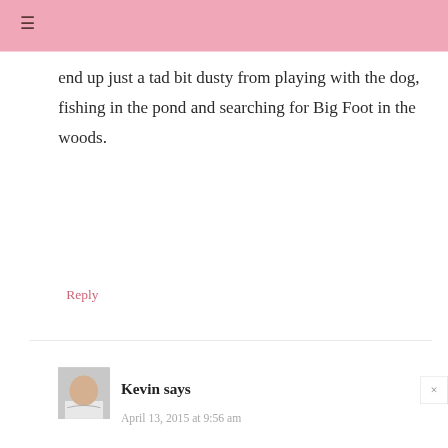≡
end up just a tad bit dusty from playing with the dog, fishing in the pond and searching for Big Foot in the woods.
Reply
Kevin says
April 13, 2015 at 9:56 am